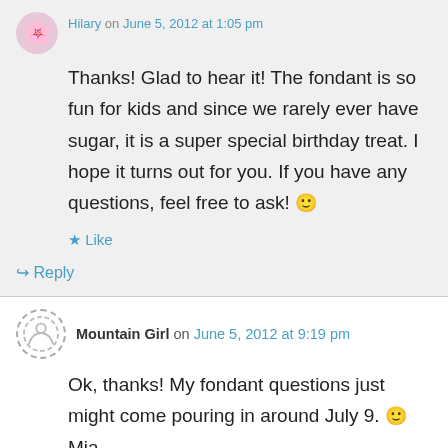Thanks! Glad to hear it! The fondant is so fun for kids and since we rarely ever have sugar, it is a super special birthday treat. I hope it turns out for you. If you have any questions, feel free to ask! 🙂
★ Like
↪ Reply
Mountain Girl on June 5, 2012 at 9:19 pm
Ok, thanks! My fondant questions just might come pouring in around July 9. 🙂 Mia
★ Like
↪ Reply